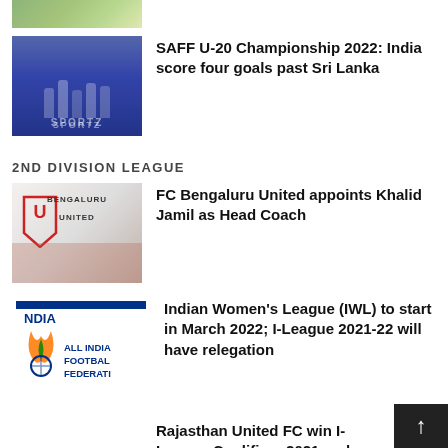[Figure (photo): Partial view of a football/soccer match image at the top, showing players on a green field]
[Figure (photo): Football players in blue jerseys celebrating, with SPORTZ branding visible in background]
SAFF U-20 Championship 2022: India score four goals past Sri Lanka
2ND DIVISION LEAGUE
[Figure (photo): FC Bengaluru United press conference with Khalid Jamil and club branding]
FC Bengaluru United appoints Khalid Jamil as Head Coach
[Figure (logo): All India Football Federation (AIFF) logo with INDIA text]
Indian Women’s League (IWL) to start in March 2022; I-League 2021-22 will have relegation
Rajasthan United FC win I-League Qualifiers 2021 and promotion to the I-League